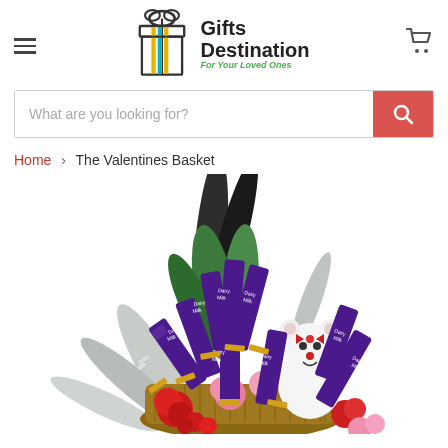Gifts Destination - For Your Loved Ones
What are you looking for?
Home > The Valentines Basket
[Figure (photo): A Valentine's Day gift basket containing multiple Cadbury Dairy Milk chocolate bars arranged upright, red and pink carnation flowers, white flowers, and a small white teddy bear with a red bow, decorated with silver/gray palm leaves.]